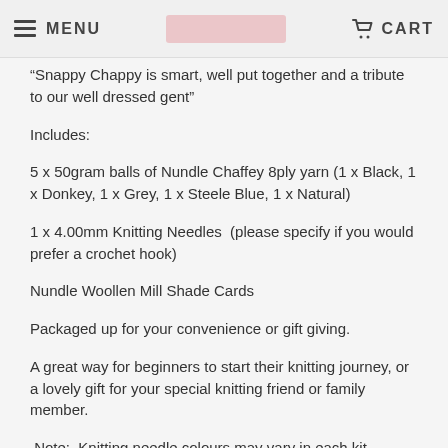MENU | CART
“Snappy Chappy is smart, well put together and a tribute to our well dressed gent”
Includes:
5 x 50gram balls of Nundle Chaffey 8ply yarn (1 x Black, 1 x Donkey, 1 x Grey, 1 x Steele Blue, 1 x Natural)
1 x 4.00mm Knitting Needles  (please specify if you would prefer a crochet hook)
Nundle Woollen Mill Shade Cards
Packaged up for your convenience or gift giving.
A great way for beginners to start their knitting journey, or a lovely gift for your special knitting friend or family member.
Note:  Knitting needle colours may vary in each kit.